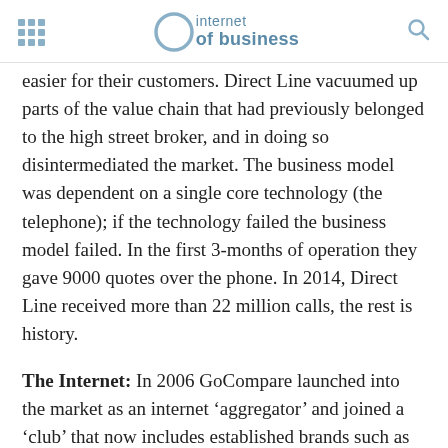internet of business
easier for their customers. Direct Line vacuumed up parts of the value chain that had previously belonged to the high street broker, and in doing so disintermediated the market. The business model was dependent on a single core technology (the telephone); if the technology failed the business model failed. In the first 3-months of operation they gave 9000 quotes over the phone. In 2014, Direct Line received more than 22 million calls, the rest is history.
The Internet: In 2006 GoCompare launched into the market as an internet ‘aggregator’ and joined a ‘club’ that now includes established brands such as Confused.com and Comparethemarket.com. Again,